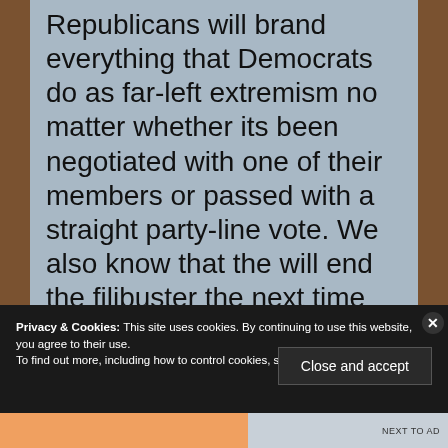Republicans will brand everything that Democrats do as far-left extremism no matter whether its been negotiated with one of their members or passed with a straight party-line vote. We also know that the will end the filibuster the next time
Privacy & Cookies: This site uses cookies. By continuing to use this website, you agree to their use. To find out more, including how to control cookies, see here: Cookie Policy
Close and accept